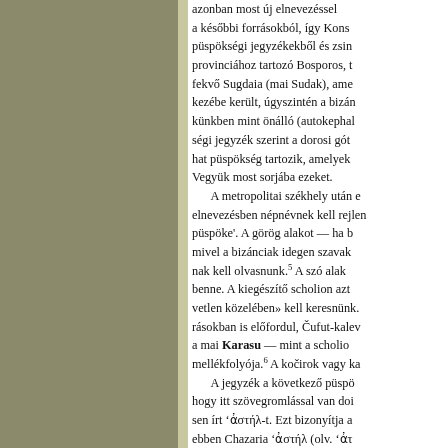azonban most új elnevezéssel a későbbi forrásokból, így Kons püspökségi jegyzékekből és zsin provinciához tartozó Bosporos, t fekvő Sugdaia (mai Sudak), ame kezébe került, úgyszintén a bizár künkben mint önálló (autokephal ségi jegyzék szerint a dorosi gót hat püspökség tartozik, amelyek Vegyük most sorjába ezeket.

A metropolitai székhely után e elnevezésben népnévnek kell rejlen püspöke'. A görög alakot — ha b mivel a bizánciak idegen szavak nak kell olvasnunk.⁵ A szó alak benne. A kiegészítő scholion azt vetlen közelében» kell keresnünk. rásokban is előfordul, Čufut-kalev a mai Karasu — mint a scholio mellékfolyója.⁶ A kočirok vagy ka

A jegyzék a következő püspö hogy itt szövegromlással van doi sen írt 'Ἀστήλ-t. Ezt bizonyítja a ebben Chazaria 'Ἀστήλ (olv. 'Ἀτ smind várost is jelöl. Az 'Ἀτήλ sz hogy a bizánciak α-ja gyakran olvasható.⁷ Az 'Ἀτήλ ítél' re